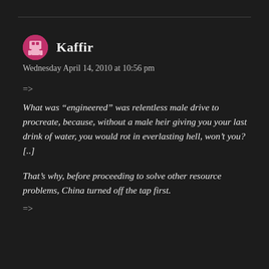Kaffir
Wednesday April 14, 2010 at 10:56 pm
=>
What was “engineered” was relentless male drive to procreate, because, without a male heir giving you your last drink of water, you would rot in everlasting hell, won’t you?
[..]
That’s why, before proceeding to solve other resource problems, China turned off the tap first.
=>